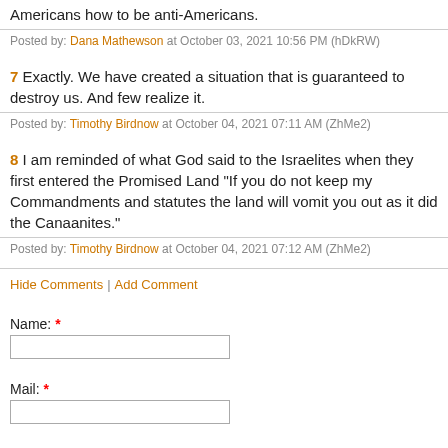Americans how to be anti-Americans.
Posted by: Dana Mathewson at October 03, 2021 10:56 PM (hDkRW)
7 Exactly. We have created a situation that is guaranteed to destroy us. And few realize it.
Posted by: Timothy Birdnow at October 04, 2021 07:11 AM (ZhMe2)
8 I am reminded of what God said to the Israelites when they first entered the Promised Land "If you do not keep my Commandments and statutes the land will vomit you out as it did the Canaanites."
Posted by: Timothy Birdnow at October 04, 2021 07:12 AM (ZhMe2)
Hide Comments | Add Comment
Name: *
Mail: *
Web: